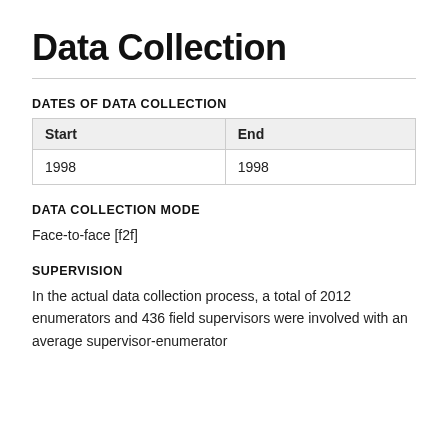Data Collection
DATES OF DATA COLLECTION
| Start | End |
| --- | --- |
| 1998 | 1998 |
DATA COLLECTION MODE
Face-to-face [f2f]
SUPERVISION
In the actual data collection process, a total of 2012 enumerators and 436 field supervisors were involved with an average supervisor-enumerator